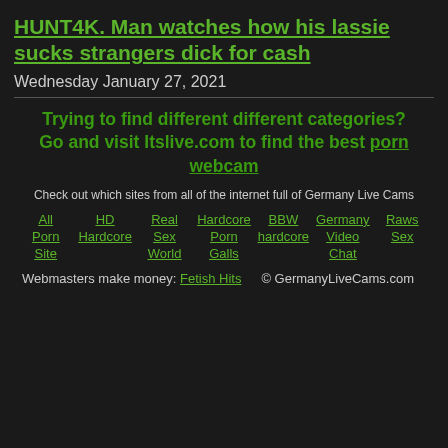HUNT4K. Man watches how his lassie sucks strangers dick for cash
Wednesday January 27, 2021
Trying to find different different categories? Go and visit Itslive.com to find the best porn webcam
Check out which sites from all of the internet full of Germany Live Cams
All Porn Site
HD Hardcore
Real Sex World
Hardcore Porn Galls
BBW hardcore
Germany Video Chat
Raws Sex
Webmasters make money: Fetish Hits  © GermanyLiveCams.com